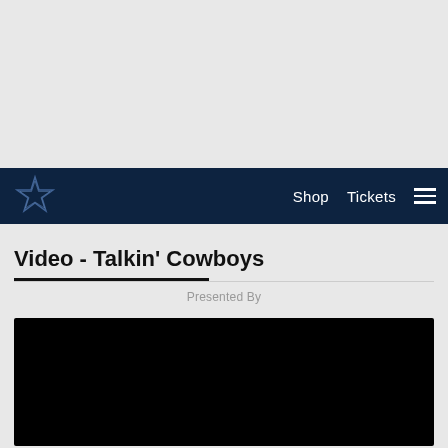[Figure (other): Gray empty top area above navigation bar]
Shop  Tickets  ☰
Video - Talkin' Cowboys
Presented By
[Figure (other): Black video player area]